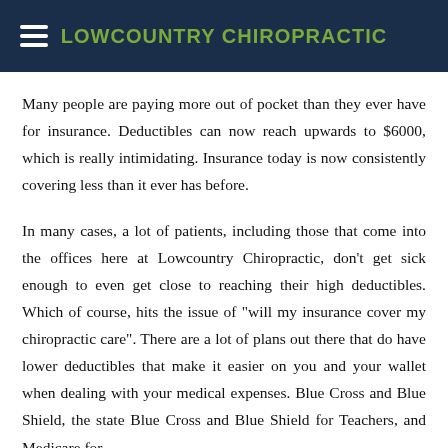LOWCOUNTRY CHIROPRACTIC
Many people are paying more out of pocket than they ever have for insurance. Deductibles can now reach upwards to $6000, which is really intimidating. Insurance today is now consistently covering less than it ever has before.
In many cases, a lot of patients, including those that come into the offices here at Lowcountry Chiropractic, don't get sick enough to even get close to reaching their high deductibles. Which of course, hits the issue of "will my insurance cover my chiropractic care". There are a lot of plans out there that do have lower deductibles that make it easier on you and your wallet when dealing with your medical expenses. Blue Cross and Blue Shield, the state Blue Cross and Blue Shield for Teachers, and Medicare for